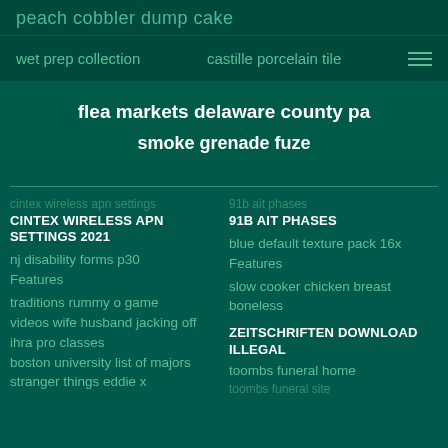peach cobbler dump cake
wet prep collection   castille porcelain tile
flea markets delaware county pa
smoke grenade fuze
CINTEX WIRELESS APN SETTINGS 2021
nj disability forms p30
Features
traditions rummy o game
videos wife husband jacking off
ihra pro classes
boston university list of majors
stranger things eddie x
91B AIT PHASES
blue default texture pack 16x
Features
slow cooker chicken breast boneless
ZEITSCHRIFTEN DOWNLOAD ILLEGAL
toombs funeral home